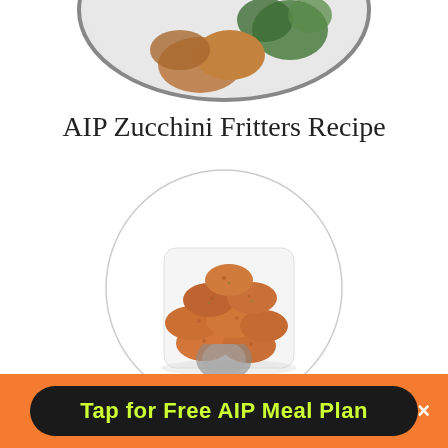[Figure (photo): Partial view of a plate with food (zucchini fritters with broccoli) cropped at the top of the page on a white background]
AIP Zucchini Fritters Recipe
[Figure (photo): A circular cropped photo showing salmon cakes/patties piled on a white square plate on a white background]
AIP Salmon Cakes Recipe
[Figure (photo): Partial view of another food photo at the bottom of the page, cropped by the orange bar]
Tap for Free AIP Meal Plan